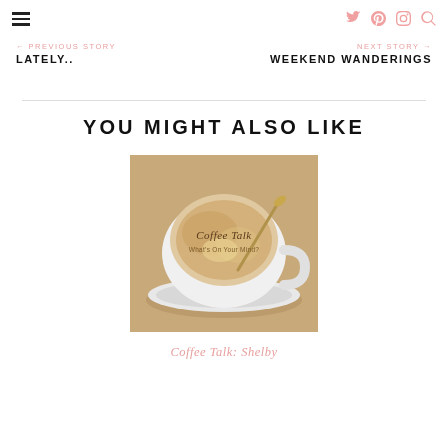← PREVIOUS STORY  LATELY..   NEXT STORY →  WEEKEND WANDERINGS
YOU MIGHT ALSO LIKE
[Figure (photo): A white coffee cup and saucer on a wooden table with a spoon. The cup contains a latte with foam. Text overlay reads 'Coffee Talk. What's On Your Mind?']
Coffee Talk: Shelby